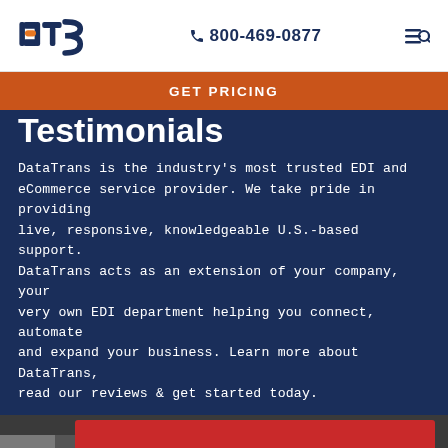DTS  800-469-0877
GET PRICING
Testimonials
DataTrans is the industry's most trusted EDI and eCommerce service provider. We take pride in providing live, responsive, knowledgeable U.S.-based support. DataTrans acts as an extension of your company, your very own EDI department helping you connect, automate and expand your business. Learn more about DataTrans, read our reviews & get started today.
[Figure (photo): A Lunchskins branded bag with red and white pattern featuring car illustrations, shown in a video thumbnail with a play button.]